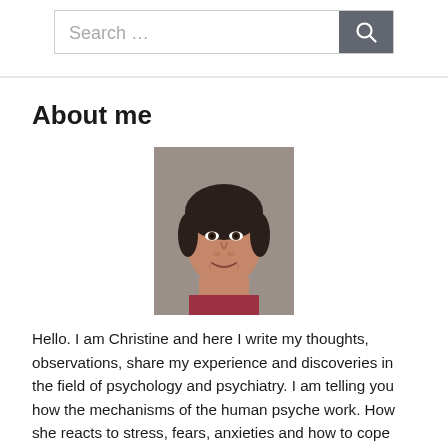Search ...
About me
[Figure (photo): Portrait photo of a young woman with short dark hair, smiling, against a gray background.]
Hello. I am Christine and here I write my thoughts, observations, share my experience and discoveries in the field of psychology and psychiatry. I am telling you how the mechanisms of the human psyche work. How she reacts to stress, fears, anxieties and how to cope with them.